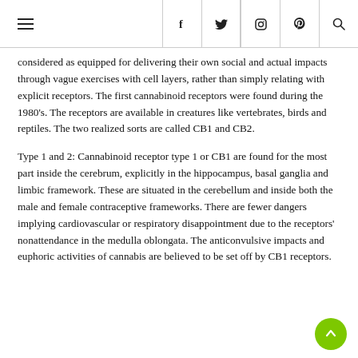Navigation header with hamburger menu and social icons (f, twitter, instagram, pinterest, search)
considered as equipped for delivering their own social and actual impacts through vague exercises with cell layers, rather than simply relating with explicit receptors. The first cannabinoid receptors were found during the 1980’s. The receptors are available in creatures like vertebrates, birds and reptiles. The two realized sorts are called CB1 and CB2.
Type 1 and 2: Cannabinoid receptor type 1 or CB1 are found for the most part inside the cerebrum, explicitly in the hippocampus, basal ganglia and limbic framework. These are situated in the cerebellum and inside both the male and female contraceptive frameworks. There are fewer dangers implying cardiovascular or respiratory disappointment due to the receptors’ nonattendance in the medulla oblongata. The anticonvulsive impacts and euphoric activities of cannabis are believed to be set off by CB1 receptors.